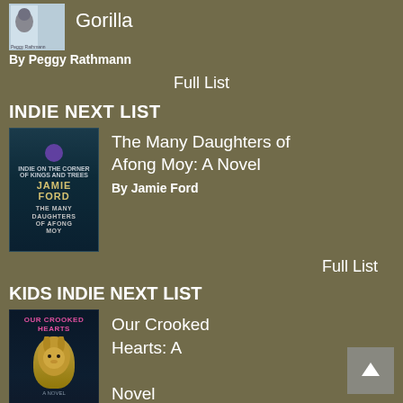[Figure (photo): Book cover thumbnail for a book by Peggy Rathmann (Gorilla)]
Gorilla
By Peggy Rathmann
Full List
INDIE NEXT LIST
[Figure (photo): Book cover for The Many Daughters of Afong Moy: A Novel by Jamie Ford]
The Many Daughters of Afong Moy: A Novel
By Jamie Ford
Full List
KIDS INDIE NEXT LIST
[Figure (photo): Book cover for Our Crooked Hearts: A Novel by Melissa Albert]
Our Crooked Hearts: A Novel
By Melissa Albert